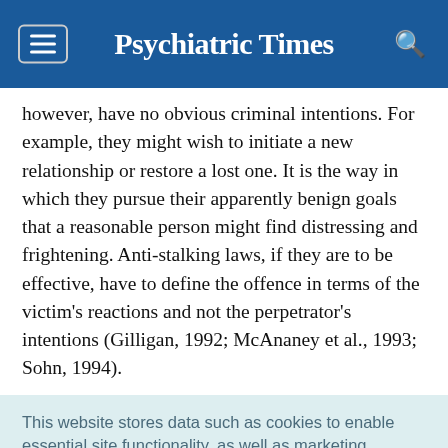Psychiatric Times
however, have no obvious criminal intentions. For example, they might wish to initiate a new relationship or restore a lost one. It is the way in which they pursue their apparently benign goals that a reasonable person might find distressing and frightening. Anti-stalking laws, if they are to be effective, have to define the offence in terms of the victim's reactions and not the perpetrator's intentions (Gilligan, 1992; McAnaney et al., 1993; Sohn, 1994).
This website stores data such as cookies to enable essential site functionality, as well as marketing, personalization, and analytics. Cookie Policy